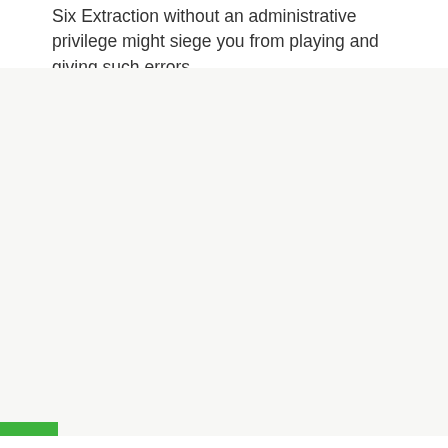Six Extraction without an administrative privilege might siege you from playing and giving such errors.
[Figure (other): Large light gray/off-white blank rectangular area occupying the lower portion of the page, with a small green rectangle in the bottom-left corner.]